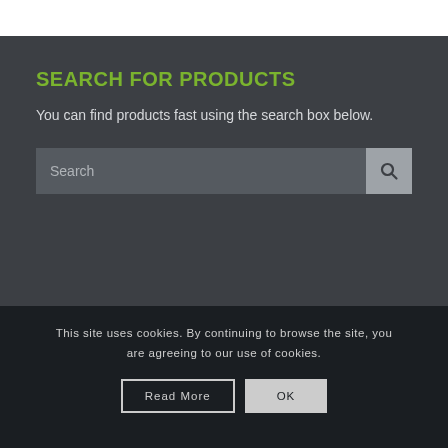SEARCH FOR PRODUCTS
You can find products fast using the search box below.
[Figure (screenshot): Search input field with a search icon button on the right]
This site uses cookies. By continuing to browse the site, you are agreeing to our use of cookies.
Read More  OK